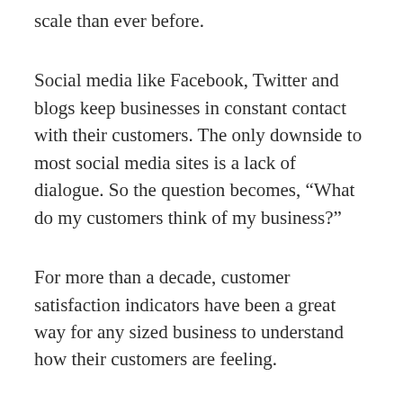scale than ever before.
Social media like Facebook, Twitter and blogs keep businesses in constant contact with their customers. The only downside to most social media sites is a lack of dialogue. So the question becomes, “What do my customers think of my business?”
For more than a decade, customer satisfaction indicators have been a great way for any sized business to understand how their customers are feeling.
But are satisfied customers enough?